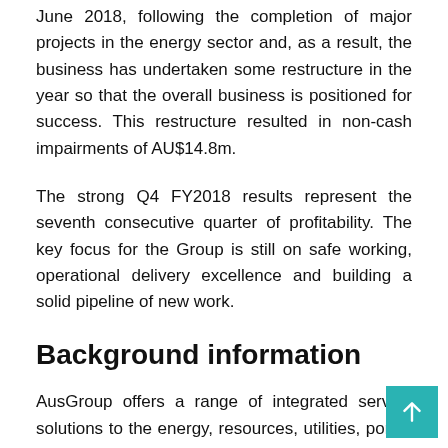June 2018, following the completion of major projects in the energy sector and, as a result, the business has undertaken some restructure in the year so that the overall business is positioned for success. This restructure resulted in non-cash impairments of AU$14.8m.
The strong Q4 FY2018 results represent the seventh consecutive quarter of profitability. The key focus for the Group is still on safe working, operational delivery excellence and building a solid pipeline of new work.
Background information
AusGroup offers a range of integrated service solutions to the energy, resources, utilities, port & marine and industrial sectors. Our diversified service offering supports clients at all stages of their asset development and operational lifecycle.